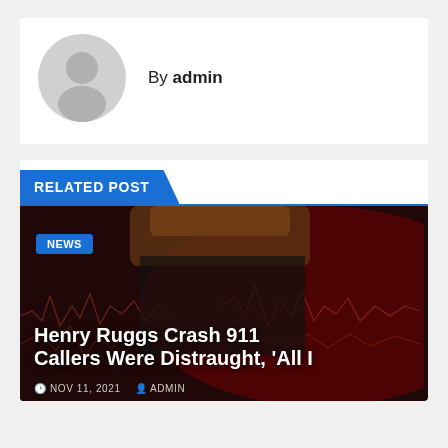[Figure (illustration): Default grey avatar icon showing a silhouette of a person]
By admin
RELATED POST
[Figure (photo): Dark red background with waveform/heartbeat lines and a person's torso/head visible at top. NEWS badge overlay. Article about Henry Ruggs Crash 911 Callers.]
Henry Ruggs Crash 911 Callers Were Distraught, 'All I
NOV 11, 2021   ADMIN